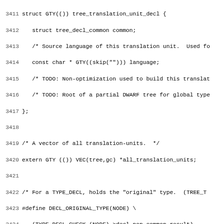[Figure (screenshot): Source code listing showing C struct definitions and preprocessor macros for GCC tree declarations, lines 3411-3442. Code includes struct GTY(()) tree_translation_unit_decl, extern GTY(()) VEC declaration, DECL_ORIGINAL_TYPE macro, TYPE_DECL_SUPPRESS_DEBUG macro, IMPORTED_DECL_ASSOCIATED_DECL macro, and struct GTY(()) tree_type_decl.]